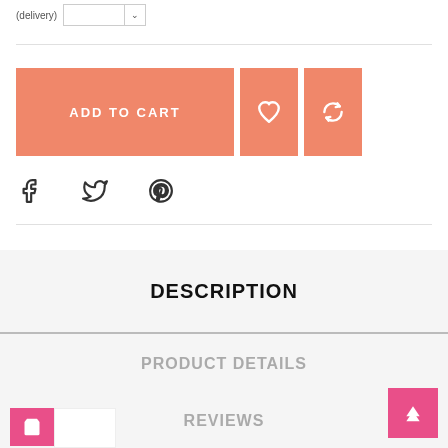[Figure (screenshot): E-commerce product page UI showing quantity selector, Add to Cart button with wishlist and compare icons, social sharing icons (Facebook, Twitter, Pinterest), a Description section header, Product Details section header, Reviews section header, a pink back-to-top button, and a pink cart icon at bottom left.]
DESCRIPTION
PRODUCT DETAILS
REVIEWS